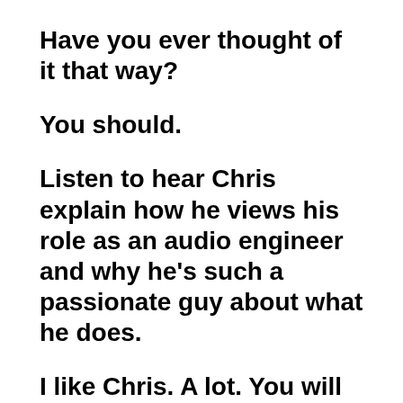Have you ever thought of it that way?
You should.
Listen to hear Chris explain how he views his role as an audio engineer and why he’s such a passionate guy about what he does.
I like Chris. A lot. You will too. 🙂